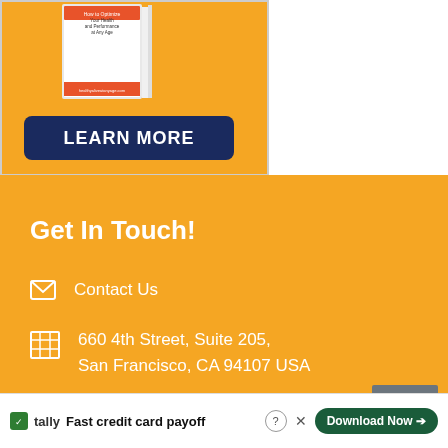[Figure (illustration): Advertisement box with orange background showing a book and a dark blue 'LEARN MORE' button]
Get In Touch!
Contact Us
660 4th Street, Suite 205, San Francisco, CA 94107 USA
About Us
Sh...
[Figure (screenshot): Tally ad banner: Fast credit card payoff — Download Now button]